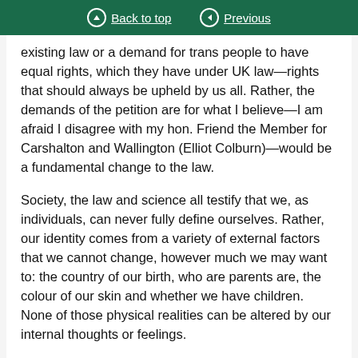Back to top | Previous
existing law or a demand for trans people to have equal rights, which they have under UK law—rights that should always be upheld by us all. Rather, the demands of the petition are for what I believe—I am afraid I disagree with my hon. Friend the Member for Carshalton and Wallington (Elliot Colburn)—would be a fundamental change to the law.
Society, the law and science all testify that we, as individuals, can never fully define ourselves. Rather, our identity comes from a variety of external factors that we cannot change, however much we may want to: the country of our birth, who are parents are, the colour of our skin and whether we have children. None of those physical realities can be altered by our internal thoughts or feelings.